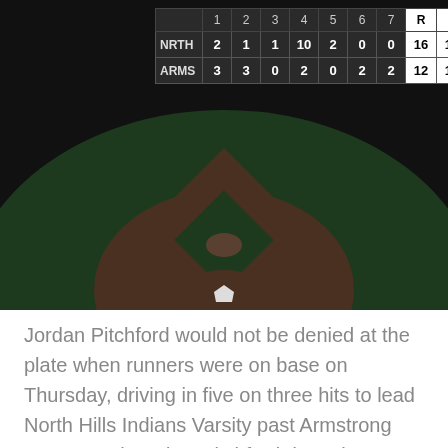[Figure (other): Baseball scoreboard showing a game between NRTH and ARMS. The scoreboard shows inning-by-inning scores. NRTH: 2,1,1,10,2,0,0 with R=16, H=12, E=1. ARMS: 3,3,0,2,0,2,2 with R=12, H=14, E=1. Background shows a baseball field from above.]
Jordan Pitchford would not be denied at the plate when runners were on base on Thursday, driving in five on three hits to lead North Hills Indians Varsity past Armstrong 16-12 on Thursday. Pitchford drove in runs on a home run in the fourth and a double in the fifth. Bats blistered as North Hills Indians Varsity collected 12 hits and Armstrong tallied 14 in the high-scoring game.